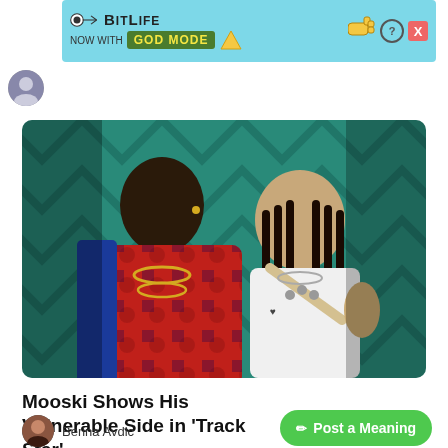[Figure (screenshot): Advertisement banner for BitLife app with 'GOD MODE' text on light blue background with cartoon hand icons]
[Figure (photo): Two people facing each other closely — a man in a red patterned shirt with gold chains and a woman in a white top with braids, against a teal chevron-patterned background]
Mooski Shows His Vulnerable Side in 'Track Star'
Berina Avdic
Post a Meaning